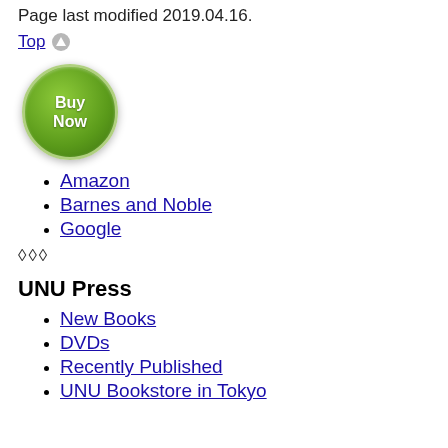Page last modified 2019.04.16.
Top
[Figure (illustration): Green circular Buy Now button]
Amazon
Barnes and Noble
Google
◇◇◇
UNU Press
New Books
DVDs
Recently Published
UNU Bookstore in Tokyo